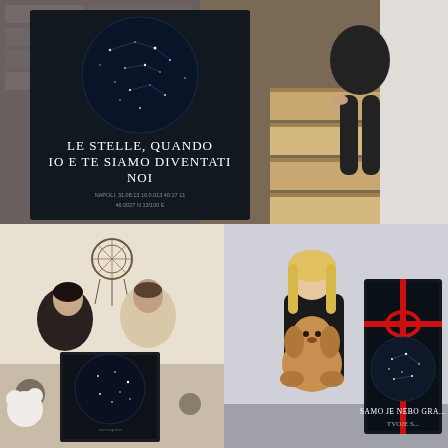[Figure (photo): Top photo: A woman in a black dress sitting on wooden stairs holding a dark framed star map poster that reads 'LE STELLE, QUANDO IO E TE SIAMO DIVENTATI NOI' with constellation imagery and coordinates, set against a stone wall background.]
[Figure (photo): Bottom-left photo: A couple (woman and man) sitting on a bed holding a framed star map print showing a dark circular constellation map with small text below, surrounded by stuffed animals, with a dream catcher visible on the wall behind them.]
[Figure (photo): Bottom-right photo: A blonde woman holding a golden/apricot colored poodle dog, with a dark framed star map gift wrapped in a red ribbon beside her. The map reads 'SAMO JE NEBO GRA...' and 'TVOJE S...' partially visible.]